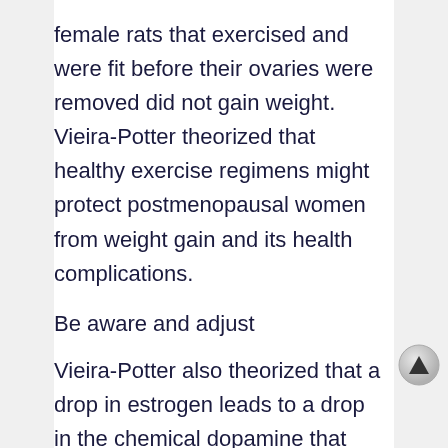female rats that exercised and were fit before their ovaries were removed did not gain weight. Vieira-Potter theorized that healthy exercise regimens might protect postmenopausal women from weight gain and its health complications.
Be aware and adjust
Vieira-Potter also theorized that a drop in estrogen leads to a drop in the chemical dopamine that sends signals to the pleasure or reward